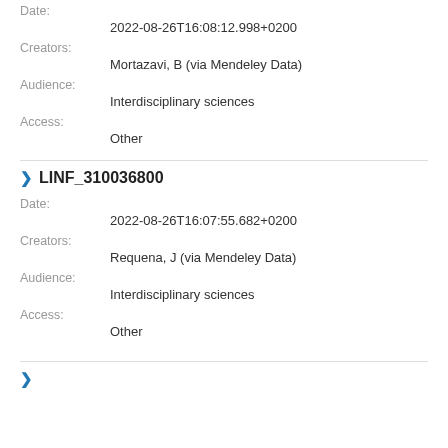Date: 2022-08-26T16:08:12.998+0200
Creators: Mortazavi, B (via Mendeley Data)
Audience: Interdisciplinary sciences
Access: Other
LINF_310036800
Date: 2022-08-26T16:07:55.682+0200
Creators: Requena, J (via Mendeley Data)
Audience: Interdisciplinary sciences
Access: Other